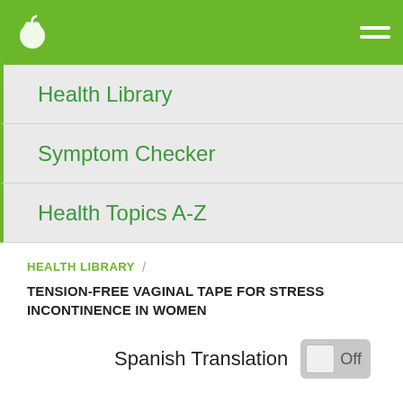[Figure (screenshot): Green navigation bar with white apple/leaf logo on the left and hamburger menu icon on the right]
Health Library
Symptom Checker
Health Topics A-Z
HEALTH LIBRARY  /
TENSION-FREE VAGINAL TAPE FOR STRESS INCONTINENCE IN WOMEN
Spanish Translation  Off